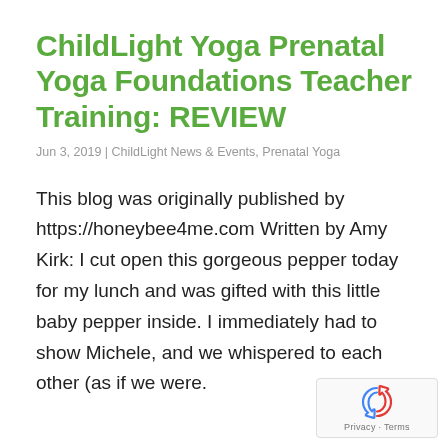ChildLight Yoga Prenatal Yoga Foundations Teacher Training: REVIEW
Jun 3, 2019 | ChildLight News & Events, Prenatal Yoga
This blog was originally published by https://honeybee4me.com Written by Amy Kirk: I cut open this gorgeous pepper today for my lunch and was gifted with this little baby pepper inside. I immediately had to show Michele, and we whispered to each other (as if we were.